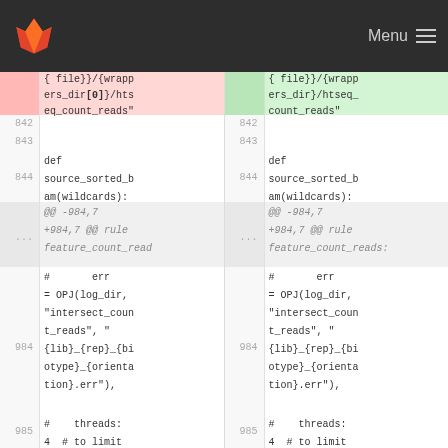GitLab diff view header with Menu
[Figure (screenshot): GitLab diff view showing two-panel code comparison with line numbers and highlighted changes for htseq_count_reads wrapper path and source_sorted_bam function]
842
843
844 def source_sorted_bam(wildcards):
... @@ -984,7 +984,7 @@ rule feature_count_reads:
984 #      err = OPJ(log_dir, "intersect_count_reads", "{lib}_{rep}_{biotype}_{orientation}.err"),
985 #    threads: 4  # to limit memory usage
842
843
844 def source_sorted_bam(wildcards):
... @@ -984,7 +984,7 @@ rule feature_count_reads:
984 #      err = OPJ(log_dir, "intersect_count_reads", "{lib}_{rep}_{biotype}_{orientation}.err"),
985 #    threads: 4  # to limit memory usage